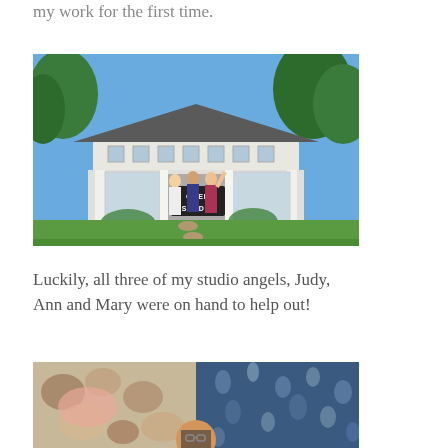my work for the first time.
[Figure (photo): Photo of an open studio exterior — a white cottage-style building with a hip roof and multiple windows. Three people stand in the doorway holding a sign that reads 'OPEN STUDIO'. There is a green lawn in the foreground and trees in the background.]
Luckily, all three of my studio angels, Judy, Ann and Mary were on hand to help out!
[Figure (photo): Partial photo showing fabric or textile art samples on the left and a person (or people) on the right side, partially visible at the bottom of the page.]